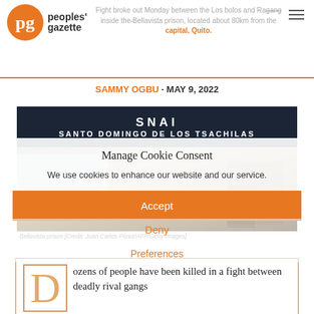Fight broke out Monday between the Los bolos and Ra gang inside the Bellavista prison, located about 80km from the capital, Quito.
SAMMY OGBU · MAY 9, 2022
[Figure (photo): Photo of Bellavista prison exterior showing SNAI Santo Domingo de los Tsachilas signage with emergency vehicles and people in background]
Bellavista prison [Credit: Juan Carlos Pérez/AFP/Getty Images]
Manage Cookie Consent
We use cookies to enhance our website and our service.
Accept
Deny
Preferences
ozens of people have been killed in a fight between deadly rival gangs